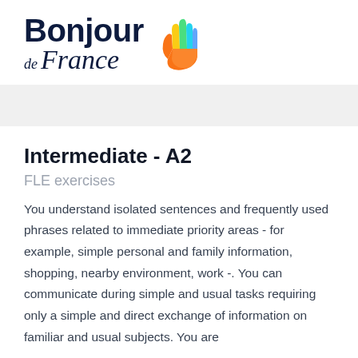[Figure (logo): Bonjour de France logo with colorful hand icon]
Intermediate - A2
FLE exercises
You understand isolated sentences and frequently used phrases related to immediate priority areas - for example, simple personal and family information, shopping, nearby environment, work -. You can communicate during simple and usual tasks requiring only a simple and direct exchange of information on familiar and usual subjects. You are